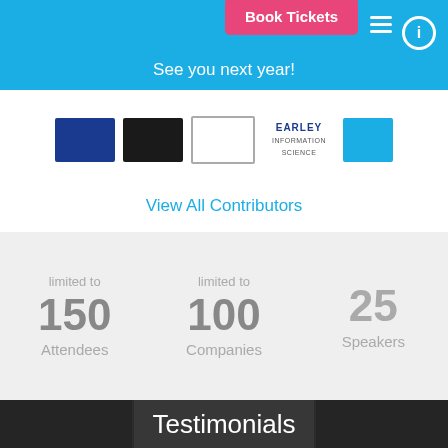Book Tickets
See you next year!
[Figure (logo): Row of contributor/sponsor logos including blue square logo, black square logo, outlined logo, Earley Information Science logo, and blue rectangle logo]
View All Contributors
limited to
150
Attendees
limited to
100
Companies
25
Speakers
Testimonials